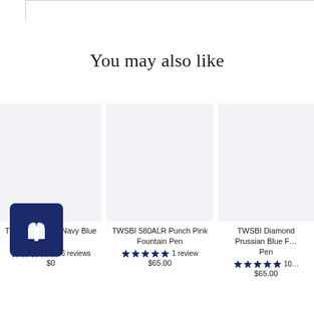You may also like
[Figure (photo): Product card image placeholder (light gray) for TWSBI 580ALR Navy Blue Pen]
TWSBI 580ALR Navy Blue Pen
6 reviews
$0
[Figure (photo): Product card image placeholder (light gray) for TWSBI 580ALR Punch Pink Fountain Pen]
TWSBI 580ALR Punch Pink Fountain Pen
1 review
$65.00
[Figure (photo): Product card image placeholder (light gray) for TWSBI Diamond Prussian Blue Fountain Pen (partially visible)]
TWSBI Diamond Prussian Blue Fountain Pen
10 reviews
$65.00